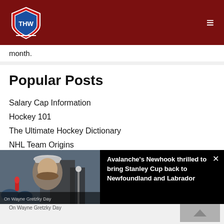THW (The Hockey Writers) logo and navigation
month.
Popular Posts
Salary Cap Information
Hockey 101
The Ultimate Hockey Dictionary
NHL Team Origins
[Figure (photo): Photo of a young man wearing a baseball cap being interviewed outdoors with a crowd in the background]
Avalanche's Newhook thrilled to bring Stanley Cup back to Newfoundland and Labrador
On Wayne Gretzky Day